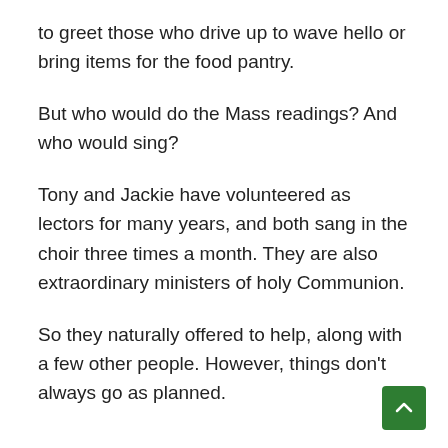to greet those who drive up to wave hello or bring items for the food pantry.
But who would do the Mass readings? And who would sing?
Tony and Jackie have volunteered as lectors for many years, and both sang in the choir three times a month. They are also extraordinary ministers of holy Communion.
So they naturally offered to help, along with a few other people. However, things don't always go as planned.